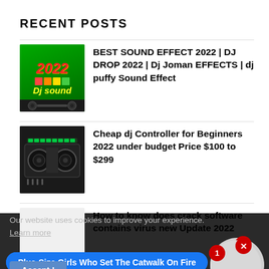RECENT POSTS
BEST SOUND EFFECT 2022 | DJ DROP 2022 | Dj Joman EFFECTS | dj puffy Sound Effect
Cheap dj Controller for Beginners 2022 under budget Price $100 to $299
How to know does crack software contains virus new Update 2022
The Soulmate Guide On How To Meet The
Our website uses cookies to improve your experience. Learn more
Plus-Size Girls Who Set The Catwalk On Fire
Accept !